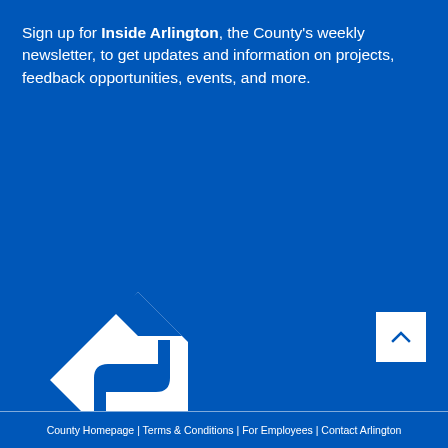Sign up for Inside Arlington, the County's weekly newsletter, to get updates and information on projects, feedback opportunities, events, and more.
[Figure (logo): Arlington Virginia county logo — white diamond shape with stylized S-curve inside, above text ARLINGTON VIRGINIA in white on blue background]
County Homepage | Terms & Conditions | For Employees | Contact Arlington